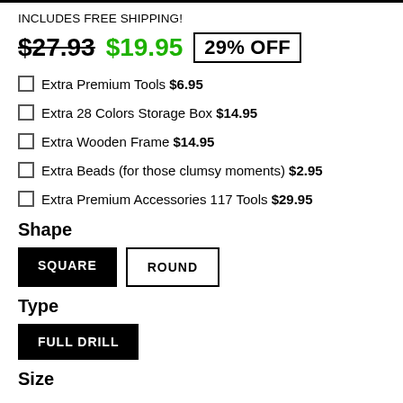INCLUDES FREE SHIPPING!
$27.93  $19.95  29% OFF
Extra Premium Tools $6.95
Extra 28 Colors Storage Box $14.95
Extra Wooden Frame $14.95
Extra Beads (for those clumsy moments) $2.95
Extra Premium Accessories 117 Tools $29.95
Shape
SQUARE  ROUND
Type
FULL DRILL
Size